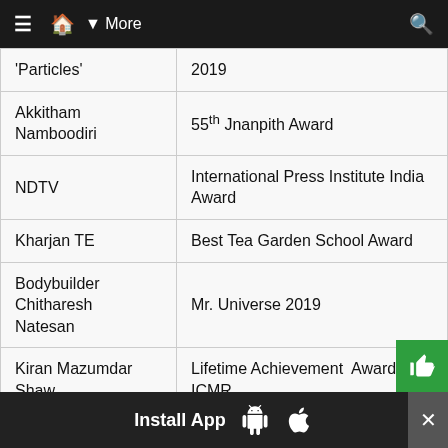≡  🏠  ▼ More  🔍
| 'Particles' | 2019 |
| Akkitham Namboodiri | 55th Jnanpith Award |
| NDTV | International Press Institute India Award |
| Kharjan TE | Best Tea Garden School Award |
| Bodybuilder Chitharesh Natesan | Mr. Universe 2019 |
| Kiran Mazumdar Shaw | Lifetime Achievement Award by ICMR |
Install App  [Android]  [Apple]  ×